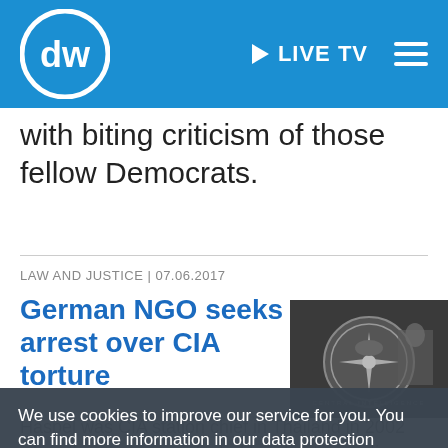DW | LIVE TV
with biting criticism of those fellow Democrats.
LAW AND JUSTICE | 07.06.2017
German NGO seeks arrest over CIA torture
[Figure (photo): CIA seal / logo on floor with figure in background]
Haspel was CIA station chief in Thailand in 2002 when the agency conducted harsh interrogations including waterboarding of suspected terrorists at secret "black site" facilities abroad following the
We use cookies to improve our service for you. You can find more information in our data protection declaration.